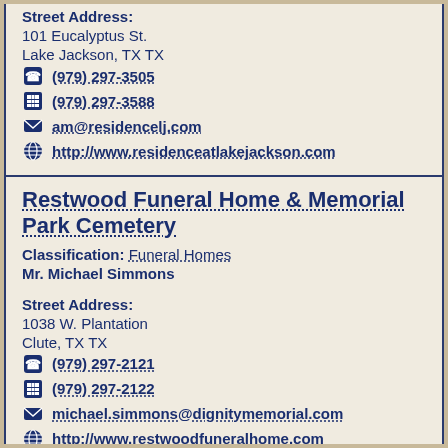Street Address:
101 Eucalyptus St.
Lake Jackson, TX TX
(979) 297-3505
(979) 297-3588
am@residencelj.com
http://www.residenceatlakejackson.com
Restwood Funeral Home & Memorial Park Cemetery
Classification: Funeral Homes
Mr. Michael Simmons
Street Address:
1038 W. Plantation
Clute, TX TX
(979) 297-2121
(979) 297-2122
michael.simmons@dignitymemorial.com
http://www.restwoodfuneralhome.com